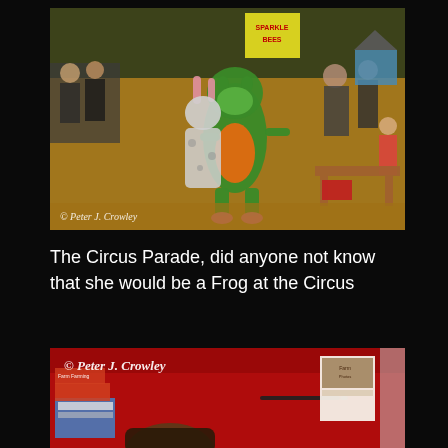[Figure (photo): Children in costumes at a Circus Parade event. A child in a green and orange frog costume is in the foreground, another child in a pink bunny costume behind them. Adults are seated watching in the background. A 'Sparkle Bees' sign is visible. Autumn leaves cover the ground. Watermark: © Peter J. Crowley]
The Circus Parade, did anyone not know that she would be a Frog at the Circus
[Figure (photo): A table covered with a red tablecloth. Books, pamphlets, and a small box (possibly merchandise) are on the table. A pen is visible. A person's head is partially visible at the bottom. Watermark: © Peter J. Crowley]